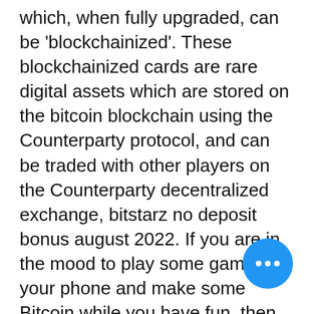which, when fully upgraded, can be 'blockchainized'. These blockchainized cards are rare digital assets which are stored on the bitcoin blockchain using the Counterparty protocol, and can be traded with other players on the Counterparty decentralized exchange, bitstarz no deposit bonus august 2022. If you are in the mood to play some games on your phone and make some Bitcoin while you have fun, then try one of the Bitcoin games listed in our article. The Crypto Games: Get Bitcoin 4+ Try mining, tap, farm coin, bitstarz no deposit bonus codes august 2022. Hello guys, I have registered from 04/03/2017, it is excellent Cryptogame, and i think it is the best, bitstarz no deposit bonus. It is fair game with good platform. Genre: clicker, simulator Platform: Android, iOS Payment Methods: Bitcoin Being another mining simulator this ga will help you understand the basics of mining, bitstarz no deposit coins. While